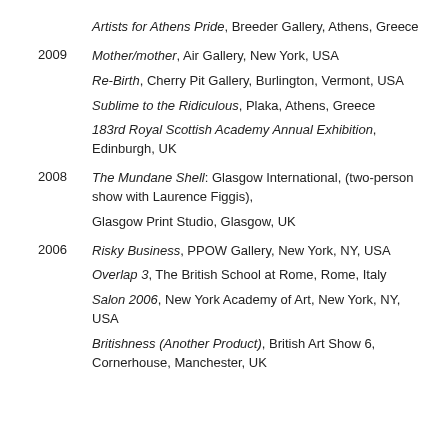Artists for Athens Pride, Breeder Gallery, Athens, Greece
2009   Mother/mother, Air Gallery, New York, USA
Re-Birth, Cherry Pit Gallery, Burlington, Vermont, USA
Sublime to the Ridiculous, Plaka, Athens, Greece
183rd Royal Scottish Academy Annual Exhibition, Edinburgh, UK
2008   The Mundane Shell: Glasgow International, (two-person show with Laurence Figgis),
Glasgow Print Studio, Glasgow, UK
2006   Risky Business, PPOW Gallery, New York, NY, USA
Overlap 3, The British School at Rome, Rome, Italy
Salon 2006, New York Academy of Art, New York, NY, USA
Britishness (Another Product), British Art Show 6, Cornerhouse, Manchester, UK